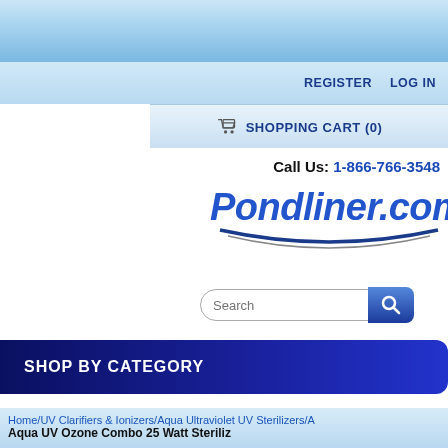[Figure (screenshot): Top blue gradient header bar of Pondliner.com website]
REGISTER   LOG IN
SHOPPING CART (0)
Call Us: 1-866-766-3548
[Figure (logo): Pondliner.com logo with italic blue text and swoosh underline]
[Figure (other): Search bar with rounded text input and blue search button with magnifying glass icon]
SHOP BY CATEGORY
Home/UV Clarifiers & Ionizers/Aqua Ultraviolet UV Sterilizers/A
Aqua UV Ozone Combo 25 Watt Steriliz